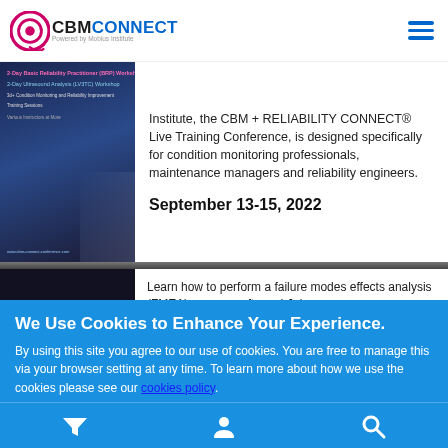CBM CONNECT - Powered by Mobius Institute
[Figure (screenshot): CBM Connect conference promotional image with event listings]
Institute, the CBM + RELIABILITY CONNECT® Live Training Conference, is designed specifically for condition monitoring professionals, maintenance managers and reliability engineers.
September 13-15, 2022
[Figure (screenshot): Software text on dark background]
Learn how to perform a failure modes effects analysis (FMEA) on your software! Join
We Use Cookies to Enhance Your Experience.
By using this site you agree to our use of cookies. You are free to manage this via your browser setting at any time. To learn more about how we use the cookies please see our cookies policy.
Accept & Close
Filter | User | Search